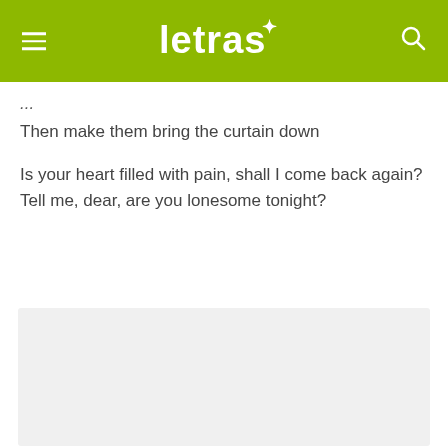letras
Then make them bring the curtain down
Is your heart filled with pain, shall I come back again?
Tell me, dear, are you lonesome tonight?
[Figure (other): Advertisement placeholder box (light gray rectangle)]